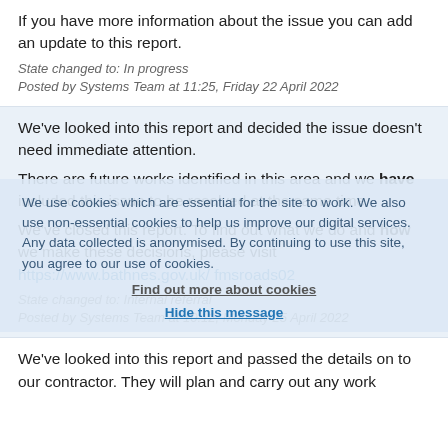If you have more information about the issue you can add an update to this report.
State changed to: In progress
Posted by Systems Team at 11:25, Friday 22 April 2022
We've looked into this report and decided the issue doesn't need immediate attention.
There are future works identified in this area and we have included this issue to be resolved at the same time.
We've closed this report. To find out what we do and how we make these decisions, please visit https://www.bathnes.gov.uk/ fmsroads02
State changed to: Internal referral
Posted by Systems Team at 10:12, Monday 25 April 2022
We use cookies which are essential for the site to work. We also use non-essential cookies to help us improve our digital services. Any data collected is anonymised. By continuing to use this site, you agree to our use of cookies.
Find out more about cookies
Hide this message
We've looked into this report and passed the details on to our contractor. They will plan and carry out any work